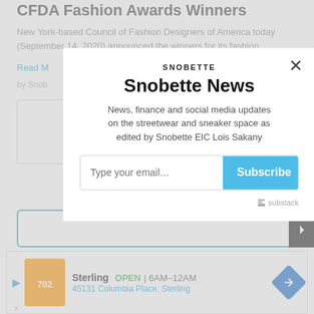CFDA Fashion Awards Winners
New York-based Council of Fashion Designers of America today (September 14, 2020) announced the winners for its fashion
Read M
by Snob
[Figure (screenshot): Snobette newsletter modal popup with email subscription form. Contains SNOBETTE logo, title 'Snobette News', description text, email input field, Subscribe button, and Substack branding. Close (X) button in top right.]
[Figure (screenshot): Music section partially visible at bottom behind modal, with blue border box and dark navigation arrow on right]
[Figure (screenshot): Advertisement banner at bottom: Sterling restaurant, OPEN 6AM-12AM, 45131 Columbia Place Sterling, with orange logo and blue navigation icon]